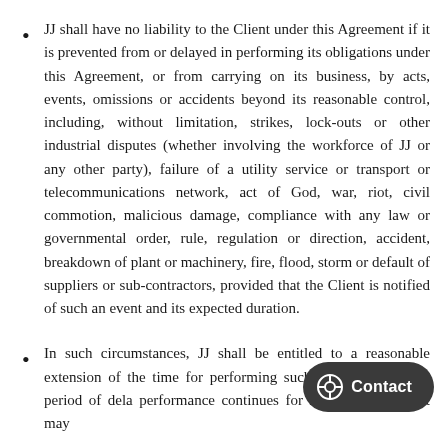JJ shall have no liability to the Client under this Agreement if it is prevented from or delayed in performing its obligations under this Agreement, or from carrying on its business, by acts, events, omissions or accidents beyond its reasonable control, including, without limitation, strikes, lock-outs or other industrial disputes (whether involving the workforce of JJ or any other party), failure of a utility service or transport or telecommunications network, act of God, war, riot, civil commotion, malicious damage, compliance with any law or governmental order, rule, regulation or direction, accident, breakdown of plant or machinery, fire, flood, storm or default of suppliers or sub-contractors, provided that the Client is notified of such an event and its expected duration.
In such circumstances, JJ shall be entitled to a reasonable extension of the time for performing such obligations. If the period of delay or non-performance continues for 28 days, the Client may